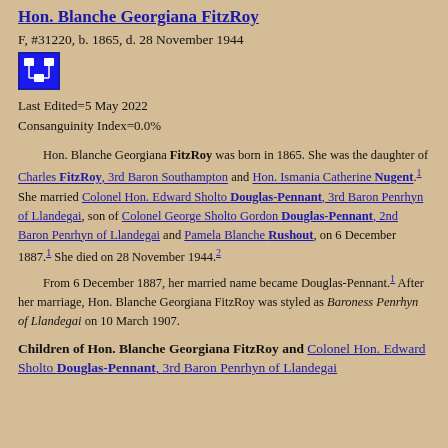Hon. Blanche Georgiana FitzRoy
F, #31220, b. 1865, d. 28 November 1944
[Figure (other): Blue icon button with family tree/network symbol]
Last Edited=5 May 2022
Consanguinity Index=0.0%
Hon. Blanche Georgiana FitzRoy was born in 1865. She was the daughter of Charles FitzRoy, 3rd Baron Southampton and Hon. Ismania Catherine Nugent.1 She married Colonel Hon. Edward Sholto Douglas-Pennant, 3rd Baron Penrhyn of Llandegai, son of Colonel George Sholto Gordon Douglas-Pennant, 2nd Baron Penrhyn of Llandegai and Pamela Blanche Rushout, on 6 December 1887.1 She died on 28 November 1944.2
From 6 December 1887, her married name became Douglas-Pennant.1 After her marriage, Hon. Blanche Georgiana FitzRoy was styled as Baroness Penrhyn of Llandegai on 10 March 1907.
Children of Hon. Blanche Georgiana FitzRoy and Colonel Hon. Edward Sholto Douglas-Pennant, 3rd Baron Penrhyn of Llandegai